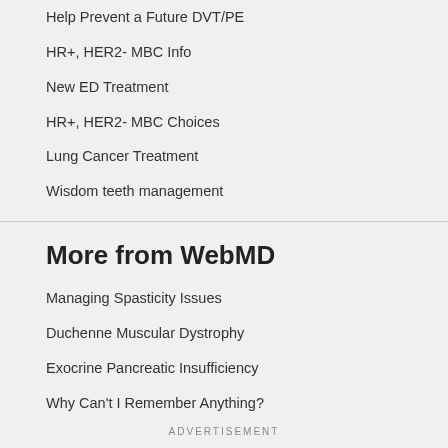Help Prevent a Future DVT/PE
HR+, HER2- MBC Info
New ED Treatment
HR+, HER2- MBC Choices
Lung Cancer Treatment
Wisdom teeth management
More from WebMD
Managing Spasticity Issues
Duchenne Muscular Dystrophy
Exocrine Pancreatic Insufficiency
Why Can't I Remember Anything?
ADVERTISEMENT